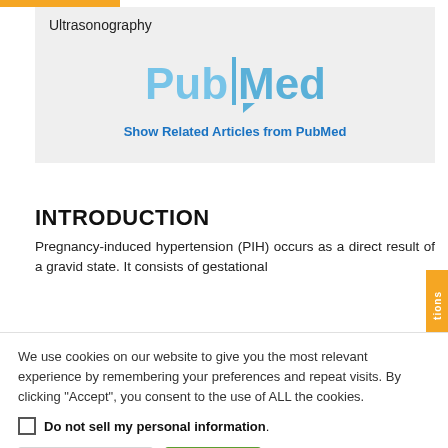Ultrasonography
[Figure (logo): PubMed logo with text 'Show Related Articles from PubMed']
INTRODUCTION
Pregnancy-induced hypertension (PIH) occurs as a direct result of a gravid state. It consists of gestational
We use cookies on our website to give you the most relevant experience by remembering your preferences and repeat visits. By clicking “Accept”, you consent to the use of ALL the cookies.
Do not sell my personal information.